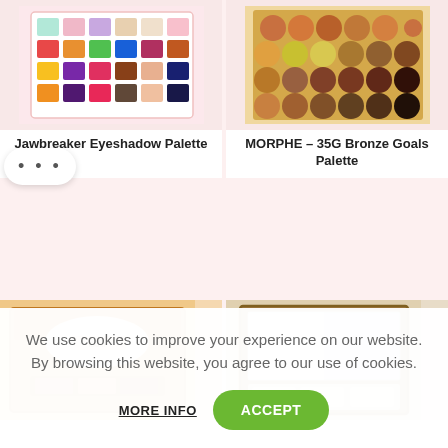[Figure (photo): Jawbreaker Eyeshadow Palette — colorful grid of eye shadow pans]
[Figure (photo): MORPHE 35G Bronze Goals Palette — round brown/gold shadow pans]
Jawbreaker Eyeshadow Palette
MORPHE – 35G Bronze Goals Palette
[Figure (photo): Open makeup palette with mirror and pans inside, warm orange tones]
[Figure (photo): Open palette with mirror and white pan tray, wood-toned frame]
We use cookies to improve your experience on our website. By browsing this website, you agree to our use of cookies.
MORE INFO
ACCEPT